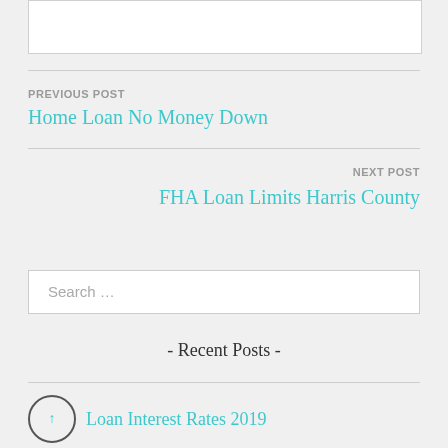PREVIOUS POST
Home Loan No Money Down
NEXT POST
FHA Loan Limits Harris County
Search …
- Recent Posts -
Loan Interest Rates 2019